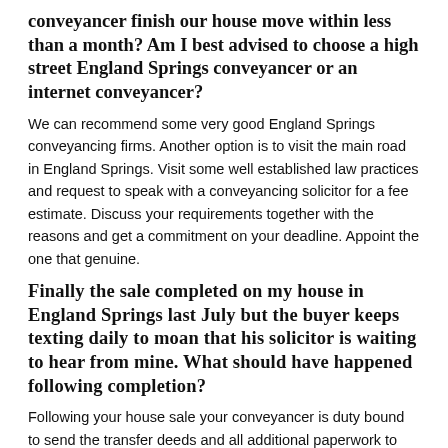conveyancer finish our house move within less than a month? Am I best advised to choose a high street England Springs conveyancer or an internet conveyancer?
We can recommend some very good England Springs conveyancing firms. Another option is to visit the main road in England Springs. Visit some well established law practices and request to speak with a conveyancing solicitor for a fee estimate. Discuss your requirements together with the reasons and get a commitment on your deadline. Appoint the one that genuine.
Finally the sale completed on my house in England Springs last July but the buyer keeps texting daily to moan that his solicitor is waiting to hear from mine. What should have happened following completion?
Following your house sale your conveyancer is duty bound to send the transfer deeds and all additional paperwork to the purchaser's lawyers. If applicable, your conveyancer should also evidence that the home loan has been paid off to the purchasers lawyers. There are no post completion procedures peculiar conveyancing in England Springs.
I am buying a property and the lawyer has